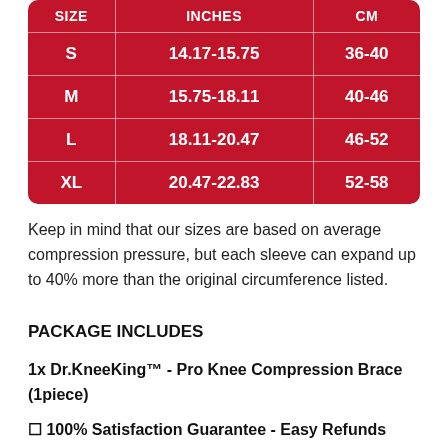| SIZE | INCHES | CM |
| --- | --- | --- |
| S | 14.17-15.75 | 36-40 |
| M | 15.75-18.11 | 40-46 |
| L | 18.11-20.47 | 46-52 |
| XL | 20.47-22.83 | 52-58 |
Keep in mind that our sizes are based on average compression pressure, but each sleeve can expand up to 40% more than the original circumference listed.
PACKAGE INCLUDES
1x Dr.KneeKing™ - Pro Knee Compression Brace (1piece)
✓ 100% Satisfaction Guarantee - Easy Refunds